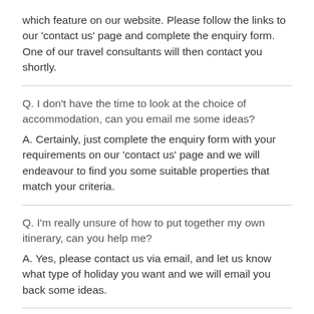which feature on our website. Please follow the links to our 'contact us' page and complete the enquiry form. One of our travel consultants will then contact you shortly.
Q. I don't have the time to look at the choice of accommodation, can you email me some ideas?
A. Certainly, just complete the enquiry form with your requirements on our 'contact us' page and we will endeavour to find you some suitable properties that match your criteria.
Q. I'm really unsure of how to put together my own itinerary, can you help me?
A. Yes, please contact us via email, and let us know what type of holiday you want and we will email you back some ideas.
Q. I've found some accommodation that I like, how do I book?
A. On each accommodation page you have the opportunity to contact the owner direct, by phone, fax or email. Should you require any help with this method.